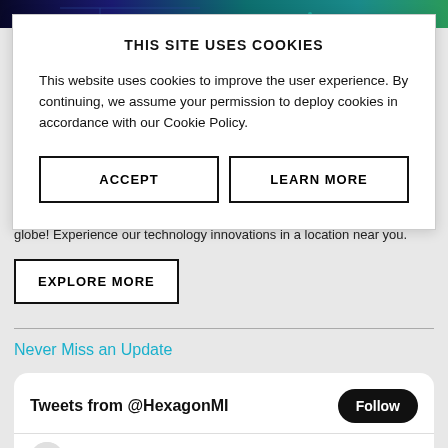[Figure (photo): Dark technology-themed background image with blue/teal/green gradient colors]
THIS SITE USES COOKIES
This website uses cookies to improve the user experience. By continuing, we assume your permission to deploy cookies in accordance with our Cookie Policy.
ACCEPT
LEARN MORE
globe! Experience our technology innovations in a location near you.
EXPLORE MORE
Never Miss an Update
Tweets from @HexagonMI
Follow
Hexagon | Manufact... @... · 22h